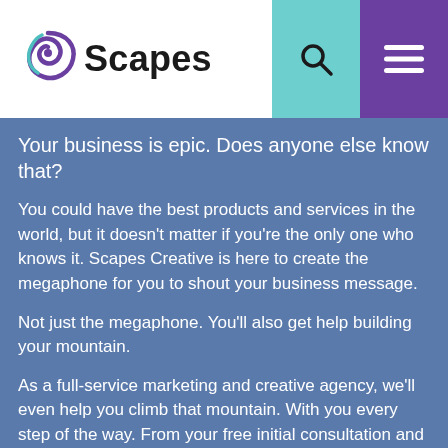[Figure (logo): Scapes Creative logo with spiral icon in purple and teal, and the word 'Scapes' in bold dark text]
Your business is epic. Does anyone else know that?
You could have the best products and services in the world, but it doesn't matter if you're the only one who knows it. Scapes Creative is here to create the megaphone for you to shout your business message.
Not just the megaphone. You'll also get help building your mountain.
As a full-service marketing and creative agency, we'll even help you climb that mountain. With you every step of the way. From your free initial consultation and needs analysis to planning, execution, delivery, and optimization. Time to take your business to the top. Get noticed. Stay top of